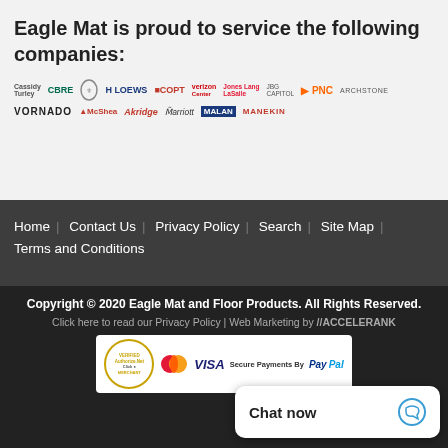Eagle Mat is proud to service the following companies:
[Figure (logo): Row of company logos: Cassidy Turley, CBRE, a crest logo, Loews, COPT, Verizon Center, Jones Lang LaSalle, JBG Capitol, PNC, Archstone, Akridge, Vornado, Marriott, McShea, MALAN, MANEKIN]
Home | Contact Us | Privacy Policy | Search | Site Map | Terms and Conditions
Copyright © 2020 Eagle Mat and Floor Products. All Rights Reserved.
Click here to read our Privacy Policy | Web Marketing by //ACCELERANK
[Figure (other): Payment icons: Authorize.Net Verified Merchant, MasterCard, Visa, Secure Payments By PayPal]
Chat now